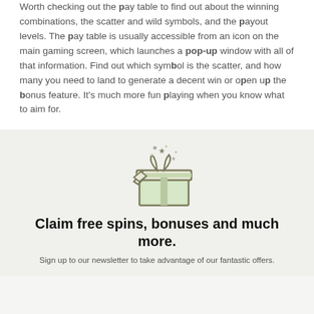Worth checking out the pay table to find out about the winning combinations, the scatter and wild symbols, and the payout levels. The pay table is usually accessible from an icon on the main gaming screen, which launches a pop-up window with all of that information. Find out which symbol is the scatter, and how many you need to land to generate a decent win or open up the bonus feature. It's much more fun playing when you know what to aim for.
[Figure (illustration): An open gift box icon with stars and sparkles coming out, colored with light green fill and dark outline.]
Claim free spins, bonuses and much more.
Sign up to our newsletter to take advantage of our fantastic offers.